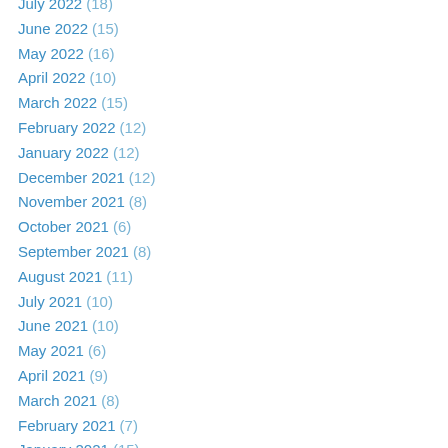July 2022 (18)
June 2022 (15)
May 2022 (16)
April 2022 (10)
March 2022 (15)
February 2022 (12)
January 2022 (12)
December 2021 (12)
November 2021 (8)
October 2021 (6)
September 2021 (8)
August 2021 (11)
July 2021 (10)
June 2021 (10)
May 2021 (6)
April 2021 (9)
March 2021 (8)
February 2021 (7)
January 2021 (15)
December 2020 (10)